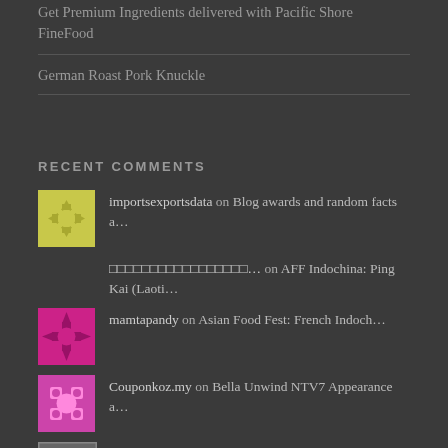Get Premium Ingredients delivered with Pacific Shore FineFood
German Roast Pork Knuckle
RECENT COMMENTS
importsexportsdata on Blog awards and random facts a…
□□□□□□□□□□□□□□□□□… on AFF Indochina: Ping Kai (Laoti…
mamtapandy on Asian Food Fest: French Indoch…
Couponkoz.my on Bella Unwind NTV7 Appearance a…
Ang Jiu (Foochow Red… on Ang Jiu (Foochow Red Wine) Chi…